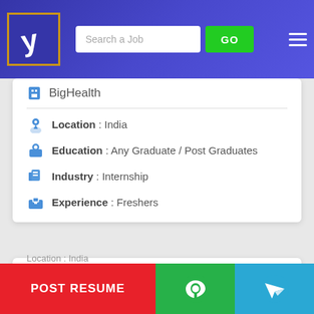[Figure (screenshot): Navigation bar with logo, search field, GO button, and hamburger menu on blue gradient background]
BigHealth
Location : India
Education : Any Graduate / Post Graduates
Industry : Internship
Experience : Freshers
Social Media Marketing Work From Home Job/internship At Newton House Experimental Learning
Newton House Experimental Learning
Location : India
POST RESUME